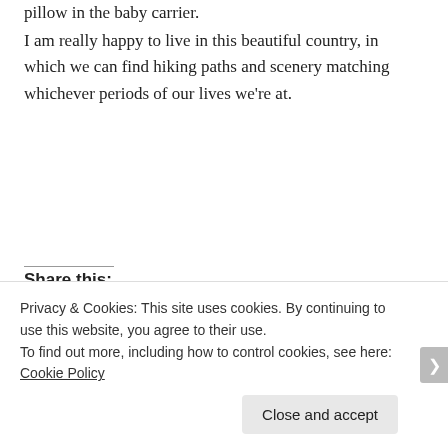pillow in the baby carrier.
I am really happy to live in this beautiful country, in which we can find hiking paths and scenery matching whichever periods of our lives we're at.
Share this:
Twitter  Facebook
Privacy & Cookies: This site uses cookies. By continuing to use this website, you agree to their use.
To find out more, including how to control cookies, see here: Cookie Policy
Close and accept